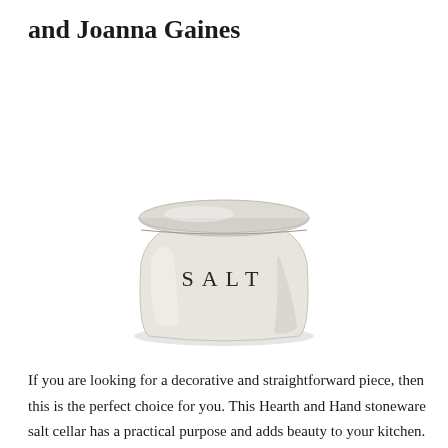and Joanna Gaines
[Figure (photo): A white/cream stoneware ceramic salt cellar with a flat lid. The word SALT is embossed on the front in spaced capital letters. The container is round and squat with a slightly wider base.]
If you are looking for a decorative and straightforward piece, then this is the perfect choice for you. This Hearth and Hand stoneware salt cellar has a practical purpose and adds beauty to your kitchen. It is made using a durable stone that is soft with a creamy color. It